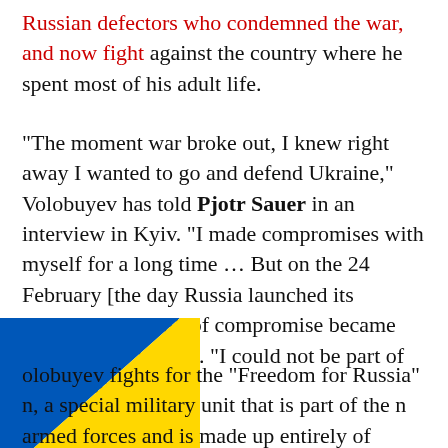Russian defectors who condemned the war, and now fight against the country where he spent most of his adult life.
“The moment war broke out, I knew right away I wanted to go and defend Ukraine,” Volobuyev has told Pjotr Sauer in an interview in Kyiv. “I made compromises with myself for a long time … But on the 24 February [the day Russia launched its invasion], any talk of compromise became impossible,” he said. “I could not be part of this crime.”
[Figure (illustration): Ukrainian flag diagonal ribbon (blue and yellow) in the bottom-left corner of the page]
olobuyev fights for the “Freedom for Russia” n, a special military unit that is part of the n armed forces and is made up entirely of